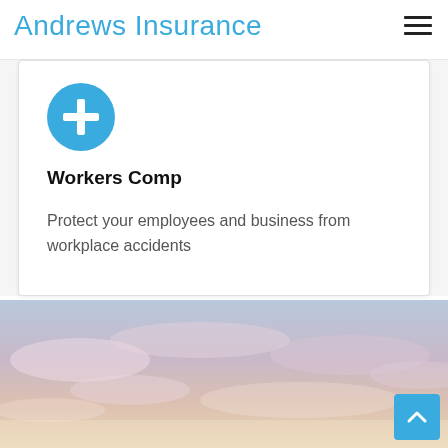Andrews Insurance
[Figure (logo): Blue circle icon with white plus sign]
Workers Comp
Protect your employees and business from workplace accidents
[Figure (photo): Sky with soft pink and blue clouds at dusk]